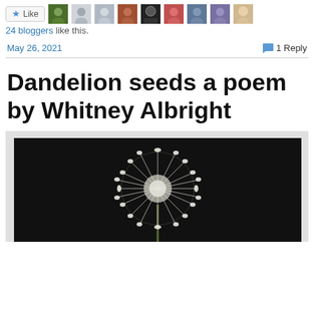[Figure (screenshot): Like button with star icon and a row of blogger avatar thumbnails]
24 bloggers like this.
May 26, 2021    💬 1 Reply
Dandelion seeds a poem by Whitney Albright
[Figure (photo): Close-up photograph of a dandelion seed head (white fluffy ball) against a black background]